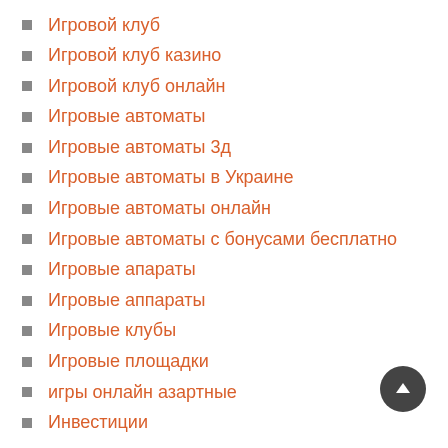Игровой клуб
Игровой клуб казино
Игровой клуб онлайн
Игровые автоматы
Игровые автоматы 3д
Игровые автоматы в Украине
Игровые автоматы онлайн
Игровые автоматы с бонусами бесплатно
Игровые апараты
Игровые аппараты
Игровые клубы
Игровые площадки
игры онлайн азартные
Инвестиции